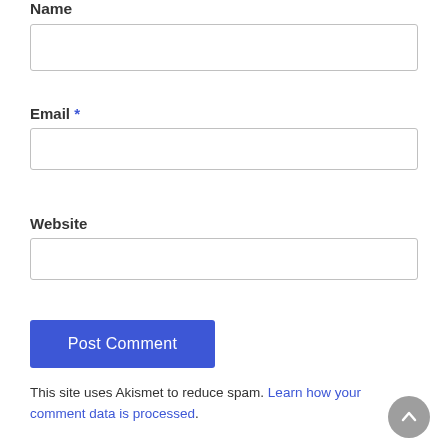Name
Email *
Website
Post Comment
This site uses Akismet to reduce spam. Learn how your comment data is processed.